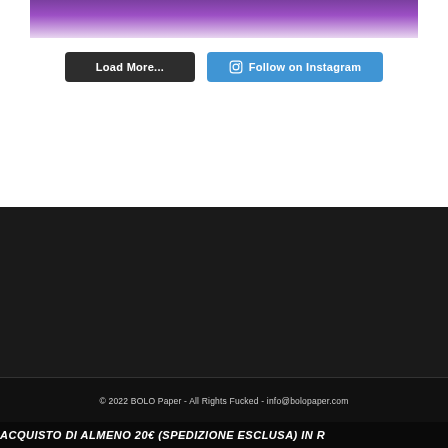[Figure (photo): Top portion of a photo showing a hand holding something against a purple background, partially cropped]
Load More...
Follow on Instagram
© 2022 BOLO Paper - All Rights Fucked - info@bolopaper.com
ACQUISTO DI ALMENO 20€ (SPEDIZIONE ESCLUSA) IN R